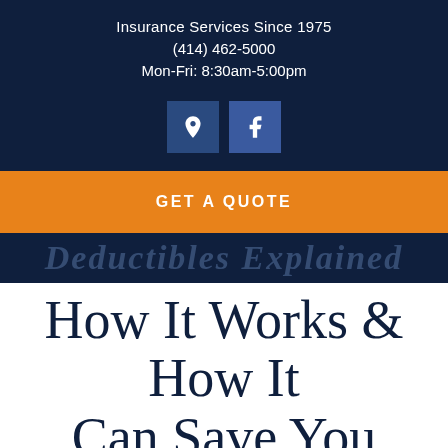Insurance Services Since 1975
(414) 462-5000
Mon-Fri: 8:30am-5:00pm
[Figure (other): Two social media icon buttons: a location pin icon and a Facebook icon, both on dark blue square backgrounds]
GET A QUOTE
How It Works & How It Can Save You
ARTICLE ORIGINALLY POSTED MAY 1, 2015 ON